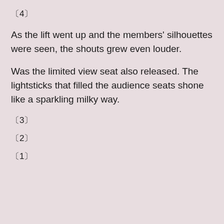〔4〕
As the lift went up and the members' silhouettes were seen, the shouts grew even louder.
Was the limited view seat also released. The lightsticks that filled the audience seats shone like a sparkling milky way.
〔3〕
〔2〕
〔1〕